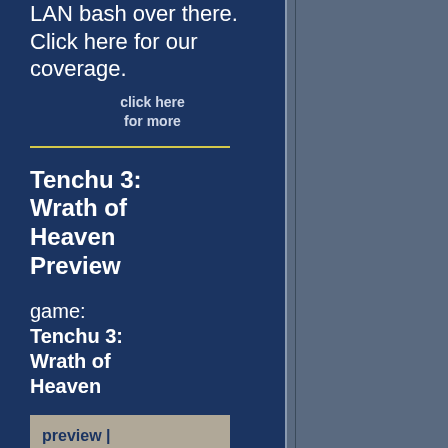LAN bash over there. Click here for our coverage.
click here for more
Tenchu 3: Wrath of Heaven Preview
game: Tenchu 3: Wrath of Heaven
preview | 09/04/02 | Jeremy Kauffman
Activision will give us another installment